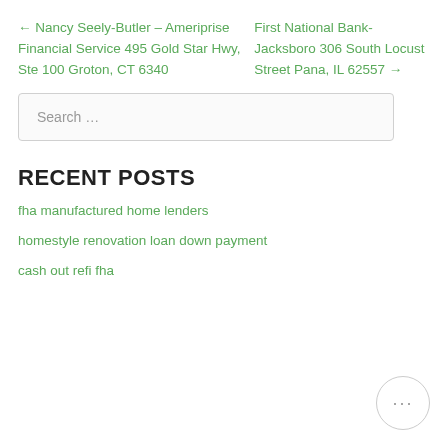← Nancy Seely-Butler – Ameriprise Financial Service 495 Gold Star Hwy, Ste 100 Groton, CT 6340
First National Bank-Jacksboro 306 South Locust Street Pana, IL 62557 →
Search …
RECENT POSTS
fha manufactured home lenders
homestyle renovation loan down payment
cash out refi fha